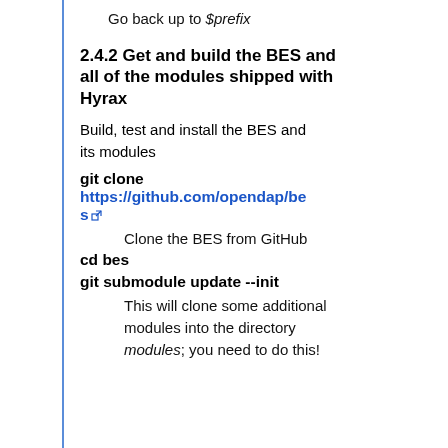Go back up to $prefix
2.4.2 Get and build the BES and all of the modules shipped with Hyrax
Build, test and install the BES and its modules
git clone https://github.com/opendap/bes
Clone the BES from GitHub
cd bes
git submodule update --init
This will clone some additional modules into the directory modules; you need to do this!